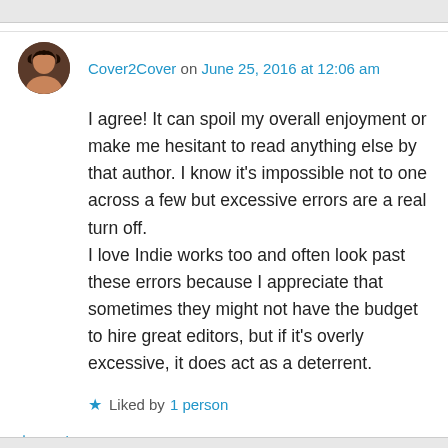Cover2Cover on June 25, 2016 at 12:06 am
I agree! It can spoil my overall enjoyment or make me hesitant to read anything else by that author. I know it's impossible not to one across a few but excessive errors are a real turn off. I love Indie works too and often look past these errors because I appreciate that sometimes they might not have the budget to hire great editors, but if it's overly excessive, it does act as a deterrent.
Liked by 1 person
Reply